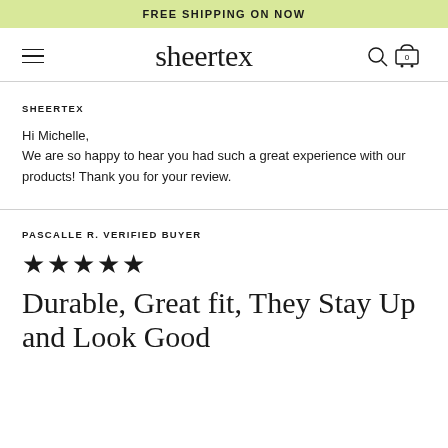FREE SHIPPING ON NOW
[Figure (logo): Sheertex logo with hamburger menu, search icon, and cart icon (0 items)]
SHEERTEX
Hi Michelle,
We are so happy to hear you had such a great experience with our products! Thank you for your review.
PASCALLE R. VERIFIED BUYER
★★★★★
Durable, Great fit, They Stay Up and Look Good